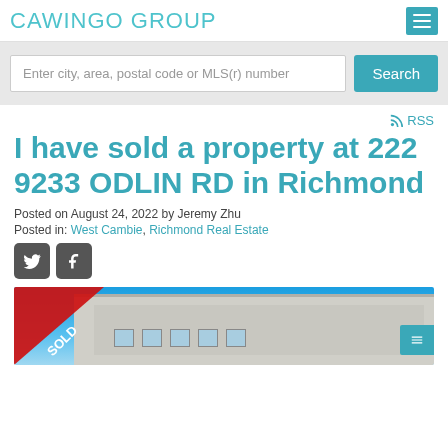CAWINGO GROUP
Enter city, area, postal code or MLS(r) number
Search
RSS
I have sold a property at 222 9233 ODLIN RD in Richmond
Posted on August 24, 2022 by Jeremy Zhu
Posted in: West Cambie, Richmond Real Estate
[Figure (photo): Exterior photo of a multi-storey residential building against a blue sky, with a red SOLD ribbon banner overlaid on the bottom-left corner.]